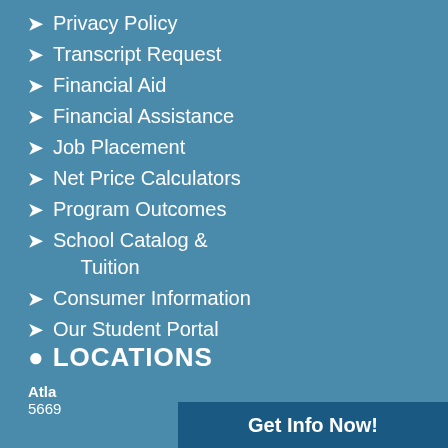Privacy Policy
Transcript Request
Financial Aid
Financial Assistance
Job Placement
Net Price Calculators
Program Outcomes
School Catalog & Tuition
Consumer Information
Our Student Portal
LOCATIONS
Atlanta Georgia Campus
5669...
Get Info Now!